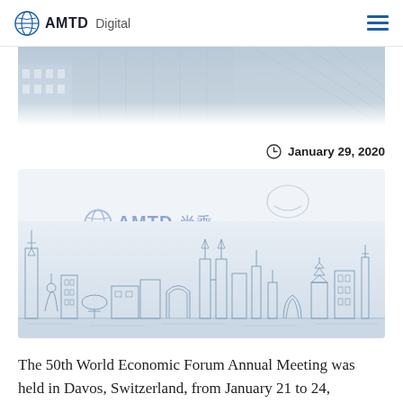AMTD Digital
[Figure (photo): Hero image strip showing architecture/building interior]
January 29, 2020
[Figure (illustration): AMTD 尚乘 and World Economic Forum logos with Asian city skyline illustration on light blue-grey background]
The 50th World Economic Forum Annual Meeting was held in Davos, Switzerland, from January 21 to 24,